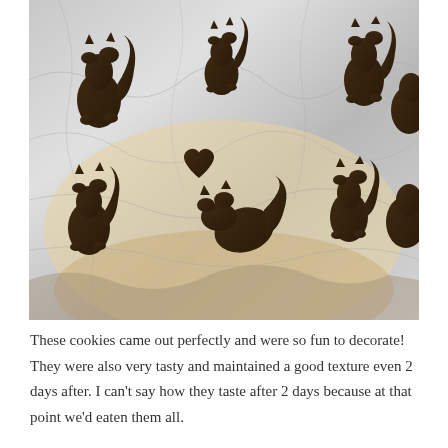[Figure (photo): Photo of squirrel-shaped and heart-shaped cookies on aluminum foil, viewed from above. The cookies are dark brown, cut into squirrel silhouettes with one small heart shape, arranged on crinkled silver foil on what appears to be a baking sheet.]
These cookies came out perfectly and were so fun to decorate! They were also very tasty and maintained a good texture even 2 days after. I can't say how they taste after 2 days because at that point we'd eaten them all.